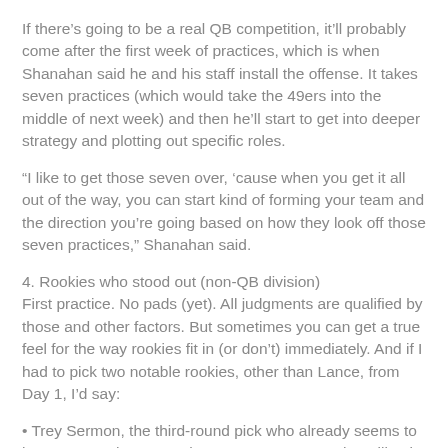If there's going to be a real QB competition, it'll probably come after the first week of practices, which is when Shanahan said he and his staff install the offense. It takes seven practices (which would take the 49ers into the middle of next week) and then he'll start to get into deeper strategy and plotting out specific roles.
“I like to get those seven over, ‘cause when you get it all out of the way, you can start kind of forming your team and the direction you’re going based on how they look off those seven practices,” Shanahan said.
4. Rookies who stood out (non-QB division)
First practice. No pads (yet). All judgments are qualified by those and other factors. But sometimes you can get a true feel for the way rookies fit in (or don’t) immediately. And if I had to pick two notable rookies, other than Lance, from Day 1, I’d say:
• Trey Sermon, the third-round pick who already seems to be pretty much 1B to Raheem Mostert’s 1A at the tailback spot. Sermon runs hard and often pretty much in a straight line, which, of course, are two perfect qualities for a Shanahan runner.